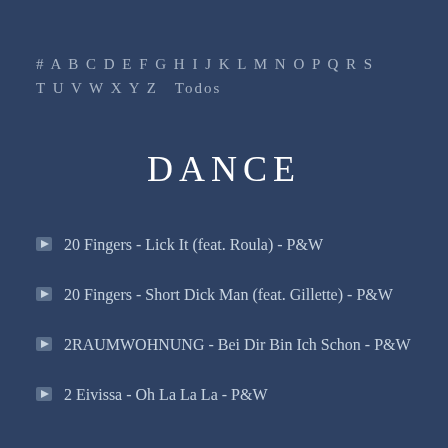# A B C D E F G H I J K L M N O P Q R S T U V W X Y Z  Todos
DANCE
20 Fingers - Lick It (feat. Roula) - P&W
20 Fingers - Short Dick Man (feat. Gillette) - P&W
2RAUMWOHNUNG - Bei Dir Bin Ich Schon - P&W
2 Eivissa - Oh La La La - P&W